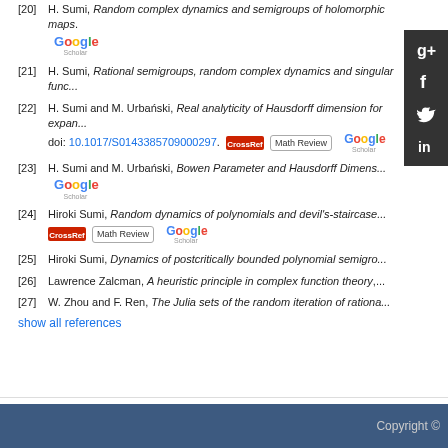[20] H. Sumi, Random complex dynamics and semigroups of holomorphic maps. [Google]
[21] H. Sumi, Rational semigroups, random complex dynamics and singular func...
[22] H. Sumi and M. Urbański, Real analyticity of Hausdorff dimension for expan... doi: 10.1017/S0143385709000297. [CrossRef] [Math Review] [Google]
[23] H. Sumi and M. Urbański, Bowen Parameter and Hausdorff Dimens... [Google]
[24] Hiroki Sumi, Random dynamics of polynomials and devil's-staircase... [CrossRef] [Math Review] [Google]
[25] Hiroki Sumi, Dynamics of postcritically bounded polynomial semigro...
[26] Lawrence Zalcman, A heuristic principle in complex function theory,...
[27] W. Zhou and F. Ren, The Julia sets of the random iteration of rationa...
show all references
Copyright ©